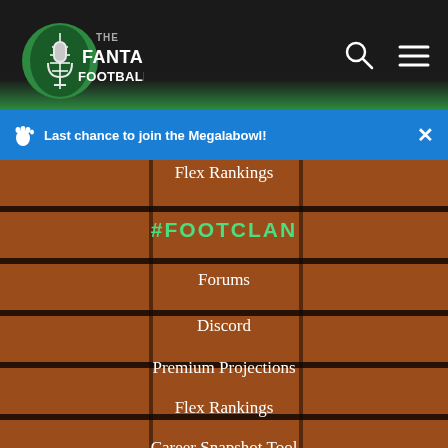[Figure (logo): The Fantasy Footballers logo with microphone graphic]
Last chance to join the Megalabowl!
Flex Rankings
#FOOTCLAN
Forums
Discord
Premium Projections
Flex Rankings
Career Snapshot Tool
Weekly Snapshot Tool
Stream Finder